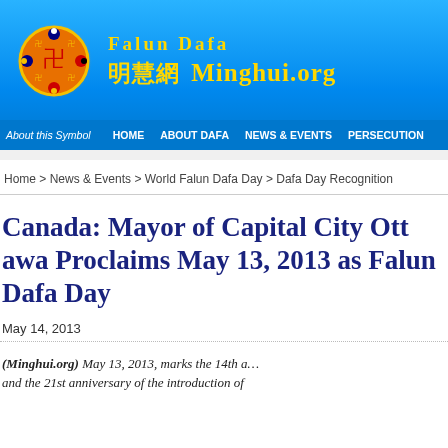Falun Dafa — 明慧網 Minghui.org
About this Symbol | HOME | ABOUT DAFA | NEWS & EVENTS | PERSECUTION
Home > News & Events > World Falun Dafa Day > Dafa Day Recognition
Canada: Mayor of Capital City Ottawa Proclaims May 13, 2013 as Falun Dafa Day
May 14, 2013
(Minghui.org) May 13, 2013, marks the 14th anniversary … and the 21st anniversary of the introduction of …